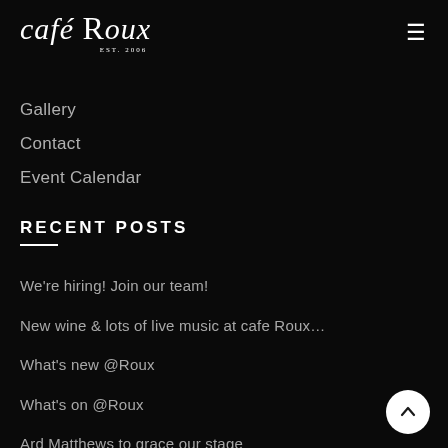café Roux EST. 2006
Gallery
Contact
Event Calendar
RECENT POSTS
We're hiring! Join our team!
New wine & lots of live music at cafe Roux…
What's new @Roux
What's on @Roux
Ard Matthews to grace our stage